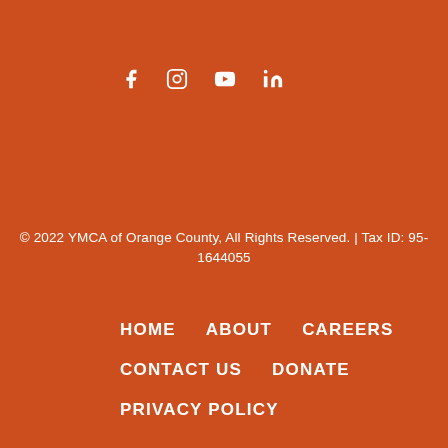[Figure (infographic): Social media icons: Facebook, Instagram, YouTube, LinkedIn]
© 2022 YMCA of Orange County, All Rights Reserved. | Tax ID: 95-1644055
HOME   ABOUT   CAREERS
CONTACT US   DONATE
PRIVACY POLICY